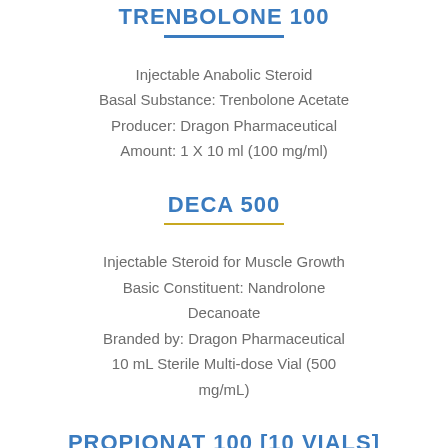TRENBOLONE 100
Injectable Anabolic Steroid
Basal Substance: Trenbolone Acetate
Producer: Dragon Pharmaceutical
Amount: 1 X 10 ml (100 mg/ml)
DECA 500
Injectable Steroid for Muscle Growth
Basic Constituent: Nandrolone Decanoate
Branded by: Dragon Pharmaceutical
10 mL Sterile Multi-dose Vial (500 mg/mL)
PROPIONAT 100 [10 VIALS]
Injectable Steroid for Muscle Growth
Prime Substance: Testosterone